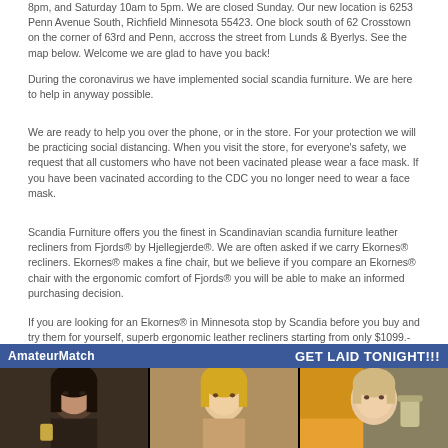8pm, and Saturday 10am to 5pm. We are closed Sunday. Our new location is 6253 Penn Avenue South, Richfield Minnesota 55423. One block south of 62 Crosstown on the corner of 63rd and Penn, accross the street from Lunds & Byerlys. See the map below. Welcome we are glad to have you back!
During the coronavirus we have implemented social scandia furniture. We are here to help in anyway possible.
We are ready to help you over the phone, or in the store. For your protection we will be practicing social distancing. When you visit the store, for everyone's safety, we request that all customers who have not been vacinated please wear a face mask. If you have been vacinated according to the CDC you no longer need to wear a face mask.
Scandia Furniture offers you the finest in Scandinavian scandia furniture leather recliners from Fjords® by Hjellegjerde®. We are often asked if we carry Ekornes® recliners. Ekornes® makes a fine chair, but we believe if you compare an Ekornes® chair with the ergonomic comfort of Fjords® you will be able to make an informed purchasing decision.
If you are looking for an Ekornes® in Minnesota stop by Scandia before you buy and try them for yourself, superb ergonomic leather recliners starting from only $1099.- Before you buy a Stressless® by Ekornes® make sure you don't pay too much for a comfortable Norwegian recliner.
[Figure (infographic): AmateurMatch advertisement banner with blue background showing logo on left and 'GET LAID TONIGHT!!!' text on right, followed by three photos of women below]